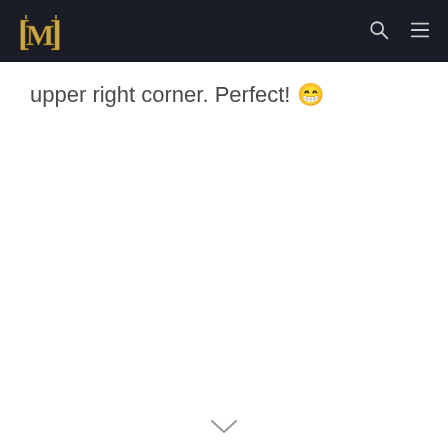WoW site navigation bar with logo, search icon, and menu icon
upper right corner. Perfect! 😁